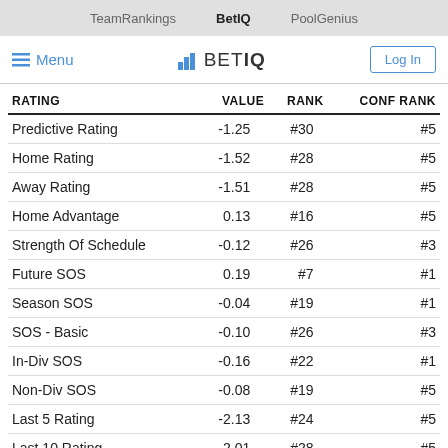TeamRankings  BetIQ  PoolGenius
Menu  BETIQ  Log In
| RATING | VALUE | RANK | CONF RANK |
| --- | --- | --- | --- |
| Predictive Rating | -1.25 | #30 | #5 |
| Home Rating | -1.52 | #28 | #5 |
| Away Rating | -1.51 | #28 | #5 |
| Home Advantage | 0.13 | #16 | #5 |
| Strength Of Schedule | -0.12 | #26 | #3 |
| Future SOS | 0.19 | #7 | #1 |
| Season SOS | -0.04 | #19 | #1 |
| SOS - Basic | -0.10 | #26 | #3 |
| In-Div SOS | -0.16 | #22 | #1 |
| Non-Div SOS | -0.08 | #19 | #5 |
| Last 5 Rating | -2.13 | #24 | #5 |
| Last 10 Rating | -2.01 | #28 | #5 |